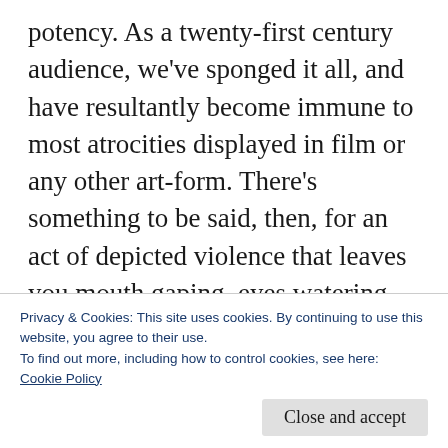potency. As a twenty-first century audience, we've sponged it all, and have resultantly become immune to most atrocities displayed in film or any other art-form. There's something to be said, then, for an act of depicted violence that leaves you mouth gaping, eyes watering and mind searching. In a sickening whipping display not far removed from The Passion of the Christ, the film emphatically compounds its horrors. Yet it remains realistic, and that rankles the stomach. Conversely, a scene of
Privacy & Cookies: This site uses cookies. By continuing to use this website, you agree to their use.
To find out more, including how to control cookies, see here: Cookie Policy
absolutely. Painful, worryingly. You wonder